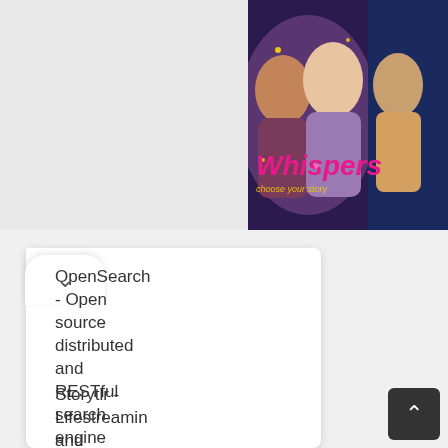[Figure (screenshot): Whispers game promotional image showing animated romantic characters with the title 'Whispers' in pink/gold text on upper right portion of page]
OpenSearch - Open source distributed and RESTful search engine
Storytlr - Lifestreaming and Microblogging platform